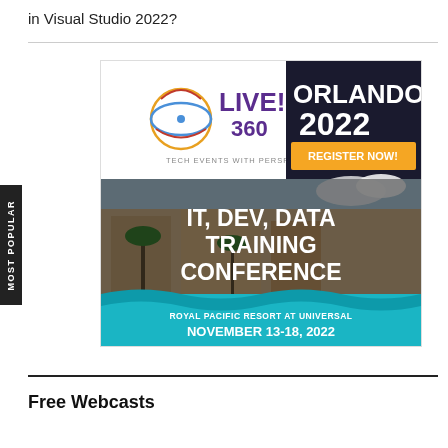in Visual Studio 2022?
[Figure (illustration): Live! 360 Tech Events With Perspective advertisement banner for Orlando 2022 IT, Dev, Data Training Conference at Royal Pacific Resort at Universal, November 13-18, 2022, with Register Now button]
Free Webcasts